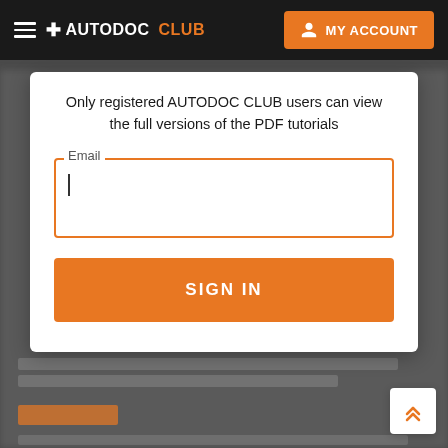+ AUTODOC CLUB  MY ACCOUNT
Only registered AUTODOC CLUB users can view the full versions of the PDF tutorials
Email
SIGN IN